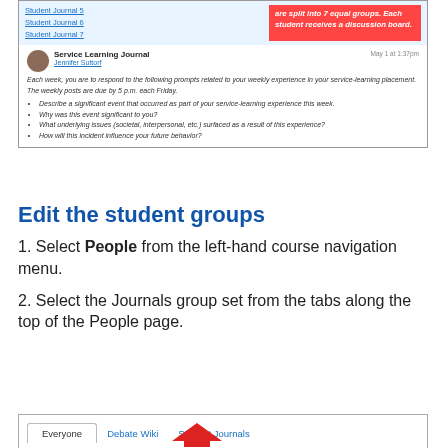[Figure (screenshot): Canvas LMS screenshot showing Student Journal links and a highlighted box saying 'are split into 7 equal groups. Each student receives a discussion board.' Also shows a Service Learning Journal post by Jennifer Suttorf with prompts about weekly service-learning experience.]
Edit the student groups
1. Select People from the left-hand course navigation menu.
2. Select the Journals group set from the tabs along the top of the People page.
[Figure (screenshot): Canvas People page tabs showing: Everyone, Debate Wiki, Student Journals tabs with a red arrow pointing to Debate Wiki tab.]